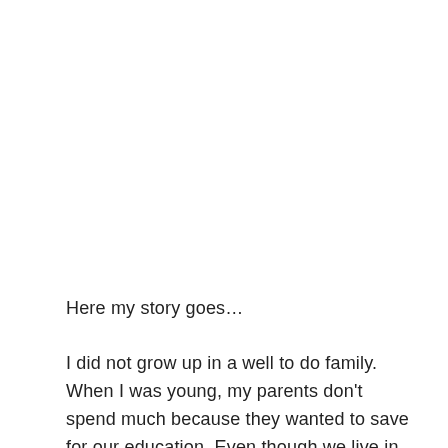Here my story goes…
I did not grow up in a well to do family. When I was young, my parents don't spend much because they wanted to save for our education. Even though we live in the town, our house was so old – that when it rained